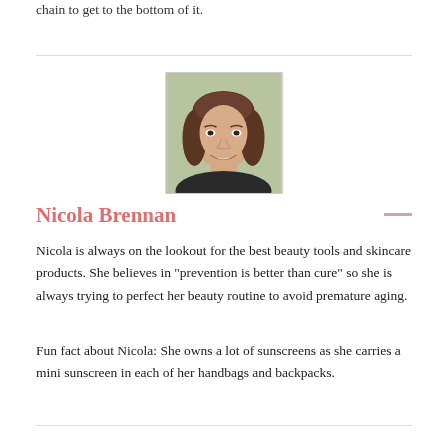chain to get to the bottom of it.
[Figure (photo): Headshot of Nicola Brennan, a young woman with long brown wavy hair, smiling, against a light green background, framed in a white bordered photo card.]
Nicola Brennan
Nicola is always on the lookout for the best beauty tools and skincare products. She believes in "prevention is better than cure" so she is always trying to perfect her beauty routine to avoid premature aging.
Fun fact about Nicola: She owns a lot of sunscreens as she carries a mini sunscreen in each of her handbags and backpacks.